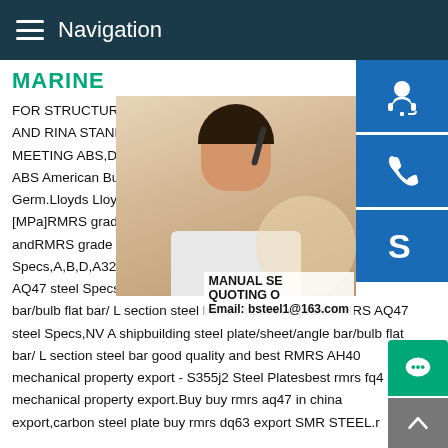Navigation
MARINE
FOR STRUCTURES WITH FATIGUE LOADING AND RINA STANDARDS SSAB OFFSHORE MEETING ABS,DNV-GL AND LR STANDARDS ABS American Bureau of shipping DNV-GL Germ.Lloyds Lloyds Register Thickness Y [MPa]RMRS grade D32 steel price-LUXURY andRMRS grade DQ47 bulb flatRMRS AQ Specs,A,B,D,A32,A36 D32 and DH36 We AQ47 steel Specs,NV A shipbuilding steel bar/bulb flat bar/ L section steel bar competitive price,RMRS AQ47 steel Specs,NV A shipbuilding steel plate/sheet/angle bar/bulb flat bar/ L section steel bar good quality and best RMRS AH40 mechanical property export - S355j2 Steel Platesbest rmrs fq4 mechanical property export.Buy buy rmrs aq47 in china export,carbon steel plate buy rmrs dq63 export SMR STEEL.r